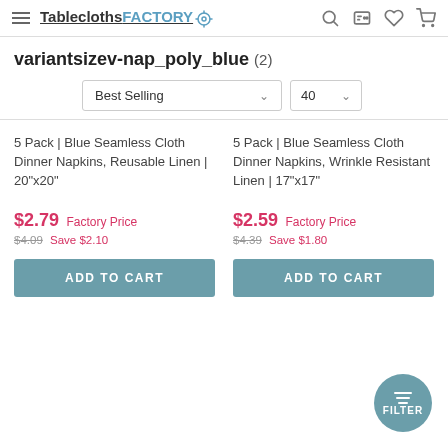TableclothsFACTORY - navigation header
variantsizev-nap_poly_blue (2)
Best Selling | 40 - sort/filter dropdowns
5 Pack | Blue Seamless Cloth Dinner Napkins, Reusable Linen | 20"x20"
$2.79 Factory Price
$4.09 Save $2.10
ADD TO CART
5 Pack | Blue Seamless Cloth Dinner Napkins, Wrinkle Resistant Linen | 17"x17"
$2.59 Factory Price
$4.39 Save $1.80
ADD TO CART